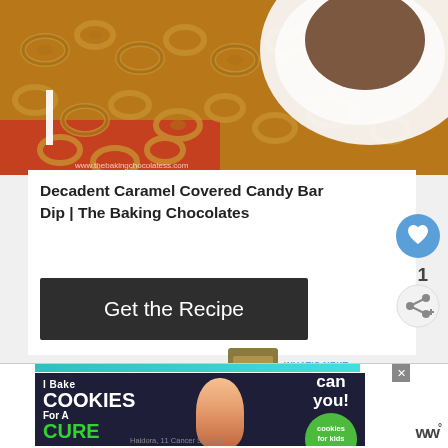[Figure (photo): Food photo showing pretzels arranged on a red surface with a white bowl of caramel candy bar dip in the background. Website watermark visible at bottom.]
Decadent Caramel Covered Candy Bar Dip | The Baking Chocolates
Get the Recipe
[Figure (other): Heart/like button icon (blue circle), count of 1, and share button (circle with share icon)]
WHAT'S NEXT → Easy Super Bowl...
[Figure (photo): Thumbnail image for Easy Super Bowl recipe]
[Figure (other): Cookie ad banner: I Bake COOKIES For A CURE - Haldora, 11 Cancer Survivor - So can you! - cookies for kids cancer logo]